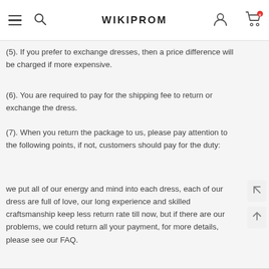WIKIPROM
(5). If you prefer to exchange dresses, then a price difference will be charged if more expensive.
(6). You are required to pay for the shipping fee to return or exchange the dress.
(7). When you return the package to us, please pay attention to the following points, if not, customers should pay for the duty:
we put all of our energy and mind into each dress, each of our dress are full of love, our long experience and skilled craftsmanship keep less return rate till now, but if there are our problems, we could return all your payment, for more details, please see our FAQ.